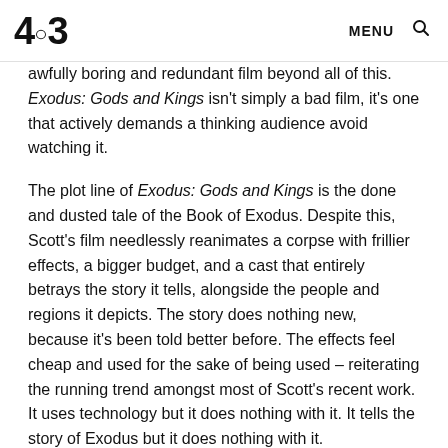4:3 | MENU 🔍
awfully boring and redundant film beyond all of this. Exodus: Gods and Kings isn't simply a bad film, it's one that actively demands a thinking audience avoid watching it.
The plot line of Exodus: Gods and Kings is the done and dusted tale of the Book of Exodus. Despite this, Scott's film needlessly reanimates a corpse with frillier effects, a bigger budget, and a cast that entirely betrays the story it tells, alongside the people and regions it depicts. The story does nothing new, because it's been told better before. The effects feel cheap and used for the sake of being used – reiterating the running trend amongst most of Scott's recent work. It uses technology but it does nothing with it. It tells the story of Exodus but it does nothing with it.